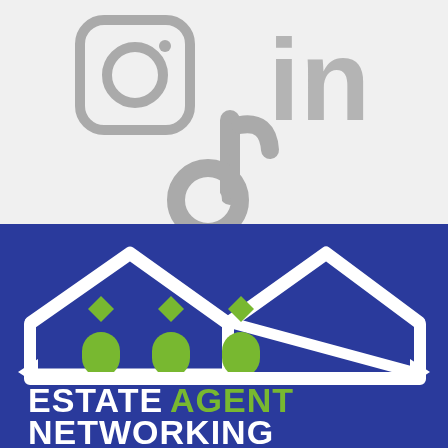[Figure (illustration): Social media icons: Instagram (camera icon, top left), LinkedIn (top right), and TikTok (center bottom) in gray on light gray background]
[Figure (logo): Estate Agent Networking logo: white house outline with green door arches and diamond shapes, arrows on left and right sides, on a dark blue background. Text reads ESTATE AGENT NETWORKING with AGENT in green.]